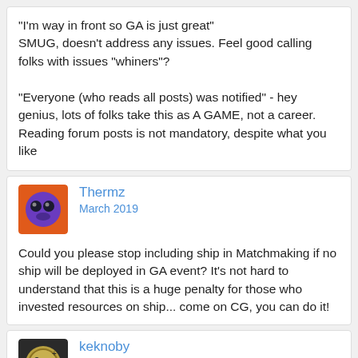“I’m way in front so GA is just great” SMUG, doesn’t address any issues. Feel good calling folks with issues “whiners”?

“Everyone (who reads all posts) was notified” - hey genius, lots of folks take this as A GAME, not a career. Reading forum posts is not mandatory, despite what you like
[Figure (illustration): Orange square avatar with purple circular game icon for user Thermz]
Thermz
March 2019
Could you please stop including ship in Matchmaking if no ship will be deployed in GA event? It’s not hard to understand that this is a huge penalty for those who invested resources on ship... come on CG, you can do it!
[Figure (illustration): Dark square avatar with gold circular game icon for user keknoby]
keknoby
March 2019
how do you define the number of teams needed for the GA ??